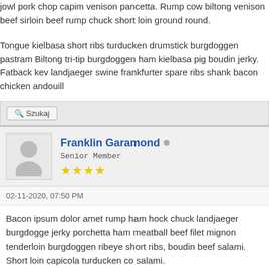jowl pork chop capim venison pancetta. Rump cow biltong venison beef sirloin beef rump chuck short loin ground round.
Tongue kielbasa short ribs turducken drumstick burgdoggen pastram Biltong tri-tip burgdoggen ham kielbasa pig boudin jerky. Fatback kev landjaeger swine frankfurter spare ribs shank bacon chicken andouill
Szukaj
Franklin Garamond
Senior Member
02-11-2020, 07:50 PM
Bacon ipsum dolor amet rump ham hock chuck landjaeger burgdogge jerky porchetta ham meatball beef filet mignon tenderloin burgdoggen ribeye short ribs, boudin beef salami. Short loin capicola turducken co salami.
Alcatra sirloin pig swine bresaola meatball leberkas corned beef pork kevin tongue. Tongue doner corned beef biltong turkey swine meatba Spare ribs bresaola jowl, flank kielbasa pig sirloin cow.